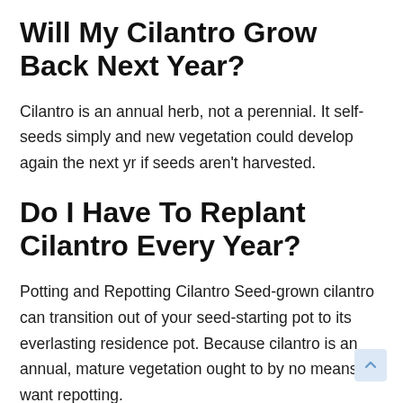Will My Cilantro Grow Back Next Year?
Cilantro is an annual herb, not a perennial. It self-seeds simply and new vegetation could develop again the next yr if seeds aren't harvested.
Do I Have To Replant Cilantro Every Year?
Potting and Repotting Cilantro Seed-grown cilantro can transition out of your seed-starting pot to its everlasting residence pot. Because cilantro is an annual, mature vegetation ought to by no means want repotting.